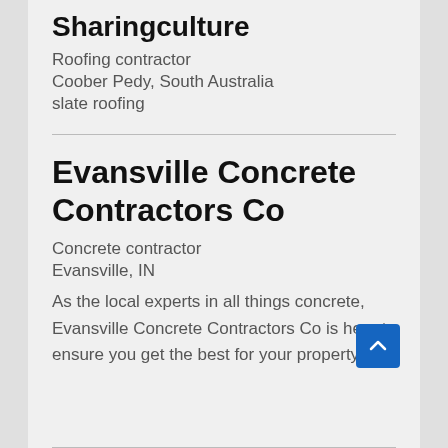Sharingculture
Roofing contractor
Coober Pedy, South Australia
slate roofing
Evansville Concrete Contractors Co
Concrete contractor
Evansville, IN
As the local experts in all things concrete, Evansville Concrete Contractors Co is here to ensure you get the best for your property.